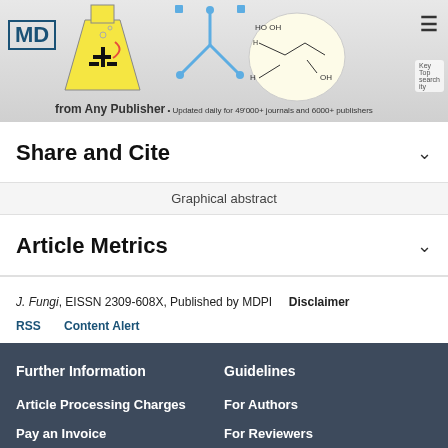[Figure (illustration): MDPI website banner showing logo, laboratory flask illustration, molecular structure diagrams, navigation menu icon, and text 'from Any Publisher • Updated daily for 49000+ journals and 6000+ publishers']
Share and Cite
Graphical abstract
Article Metrics
J. Fungi, EISSN 2309-608X, Published by MDPI   Disclaimer
RSS   Content Alert
Further Information
Guidelines
Article Processing Charges
For Authors
Pay an Invoice
For Reviewers